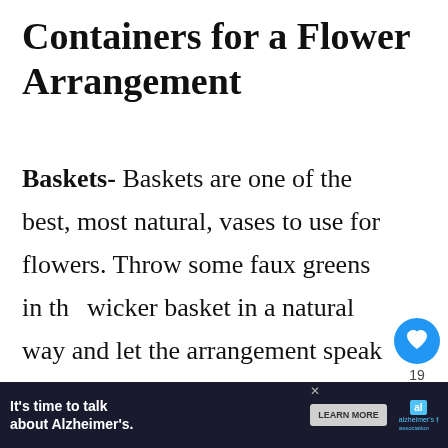Containers for a Flower Arrangement
Baskets- Baskets are one of the best, most natural, vases to use for flowers. Throw some faux greens in the wicker basket in a natural way and let the arrangement speak for itself. I've seen baskets full of wispy greenery in
[Figure (other): Social sidebar with heart/like button (blue circle with heart icon), count '19', and share button]
[Figure (other): What's Next panel with thumbnail image and text 'The Best Faux Greenery for...']
[Figure (other): Advertisement banner: 'It's time to talk about Alzheimer's.' with Learn More button and Alzheimer's Association logo]